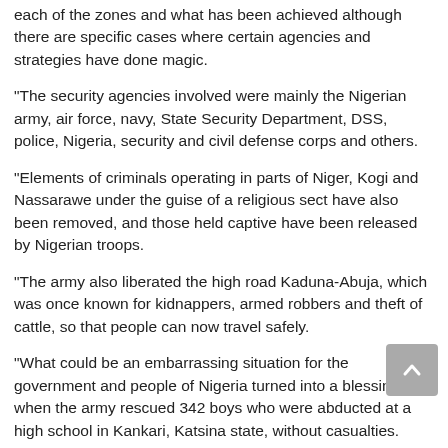each of the zones and what has been achieved although there are specific cases where certain agencies and strategies have done magic.
“The security agencies involved were mainly the Nigerian army, air force, navy, State Security Department, DSS, police, Nigeria, security and civil defense corps and others.
“Elements of criminals operating in parts of Niger, Kogi and Nassarawe under the guise of a religious sect have also been removed, and those held captive have been released by Nigerian troops.
“The army also liberated the high road Kaduna-Abuja, which was once known for kidnappers, armed robbers and theft of cattle, so that people can now travel safely.
“What could be an embarrassing situation for the government and people of Nigeria turned into a blessing when the army rescued 342 boys who were abducted at a high school in Kankari, Katsina state, without casualties.
“The terrorist groups Boko Haram and ISWAP have destabilized northeastern Nigeria through terrorists and other criminal activities,